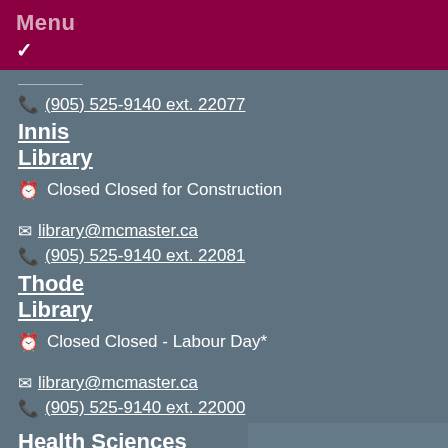Menu ✓
(905) 525-9140 ext. 22077
Innis Library
Closed Closed for Construction
library@mcmaster.ca
(905) 525-9140 ext. 22081
Thode Library
Closed Closed - Labour Day*
library@mcmaster.ca
(905) 525-9140 ext. 22000
Health Sciences LibraryHSL
Email a Librarian